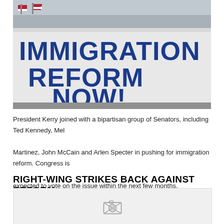[Figure (photo): Protesters at an immigration reform rally holding a large white banner reading 'IMMIGRATION REFORM NOW!' in bold blue letters. Crowd waving American flags in background.]
President Kerry joined with a bipartisan group of Senators, including Ted Kennedy, Mel Martinez, John McCain and Arlen Specter in pushing for immigration reform. Congress is expected to vote on the issue within the next few months.
RIGHT-WING STRIKES BACK AGAINST REFORM
[Figure (photo): Placeholder image area with camera icon indicating unavailable image.]